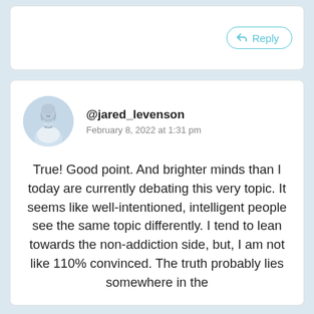[Figure (screenshot): Top comment card with a Reply button (cyan outlined, with reply arrow icon)]
[Figure (photo): Circular avatar photo of a man in a light blue shirt holding a microphone]
@jared_levenson
February 8, 2022 at 1:31 pm
True! Good point. And brighter minds than I today are currently debating this very topic. It seems like well-intentioned, intelligent people see the same topic differently. I tend to lean towards the non-addiction side, but, I am not like 110% convinced. The truth probably lies somewhere in the